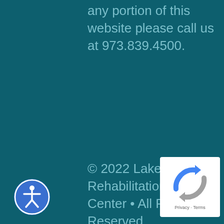any portion of this website please call us at 973.839.4500.
© 2022 Lakeview Rehabilitation & Care Center • All Rights Reserved
[Figure (illustration): Blue circular accessibility icon with white human figure in a circle]
[Figure (logo): reCAPTCHA badge with Privacy and Terms text]